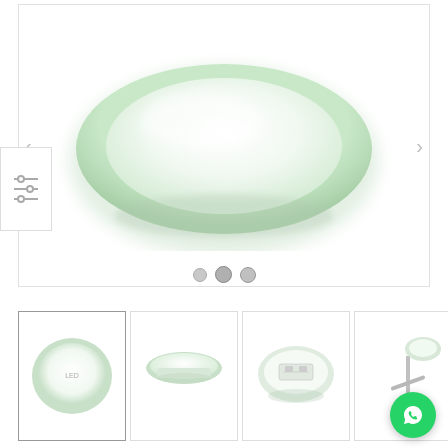[Figure (photo): Main product image area showing a round ceiling light fixture viewed from above, with a white/pale green frosted glass cover. Navigation arrows on left and right sides. Three navigation dots below the image.]
[Figure (photo): Filter/settings icon box on the left side]
[Figure (photo): Thumbnail 1: Round ceiling LED light, top view, white with pale green ring border]
[Figure (photo): Thumbnail 2: Ceiling LED light side/bottom angle view]
[Figure (photo): Thumbnail 3: Ceiling LED light bottom view showing internal components]
[Figure (photo): Thumbnail 4: LED light on a pole/stand mount]